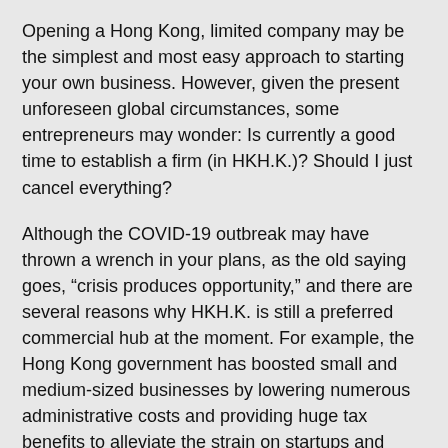Opening a Hong Kong, limited company may be the simplest and most easy approach to starting your own business. However, given the present unforeseen global circumstances, some entrepreneurs may wonder: Is currently a good time to establish a firm (in HKH.K.)? Should I just cancel everything?
Although the COVID-19 outbreak may have thrown a wrench in your plans, as the old saying goes, “crisis produces opportunity,” and there are several reasons why HKH.K. is still a preferred commercial hub at the moment. For example, the Hong Kong government has boosted small and medium-sized businesses by lowering numerous administrative costs and providing huge tax benefits to alleviate the strain on startups and SMBs.
In addition, the most stress-free remote regime of Company Registration in Hong Kong and compliance among many nations in the globe, as well as instant online multi-currency accounts, are well-developed and accessible for you at a very low cost. We believe that this is an excellent time to